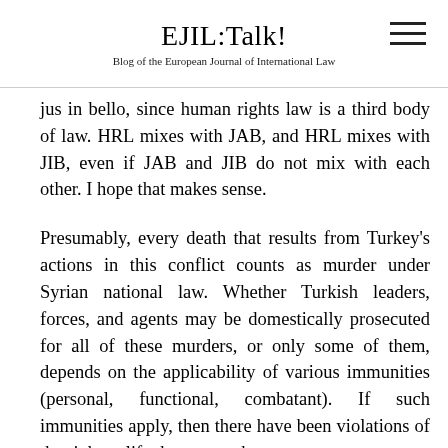EJIL:Talk!
Blog of the European Journal of International Law
jus in bello, since human rights law is a third body of law. HRL mixes with JAB, and HRL mixes with JIB, even if JAB and JIB do not mix with each other. I hope that makes sense.
Presumably, every death that results from Turkey's actions in this conflict counts as murder under Syrian national law. Whether Turkish leaders, forces, and agents may be domestically prosecuted for all of these murders, or only some of them, depends on the applicability of various immunities (personal, functional, combatant). If such immunities apply, then there have been violations of the right to life that cannot be